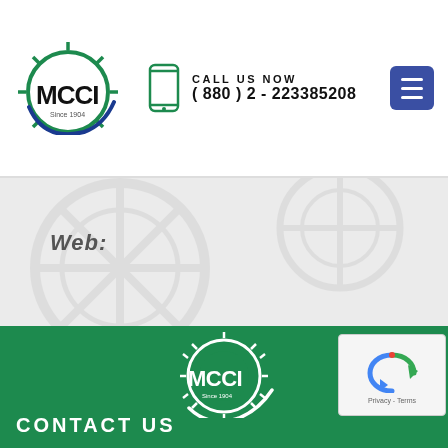[Figure (logo): MCCI logo - gear with swoosh and text MCCI Since 1904, black on white]
CALL US NOW
(880) 2 - 223385208
[Figure (other): Hamburger menu button, dark blue/indigo square with three white horizontal lines]
Web:
[Figure (logo): MCCI logo white on green background - gear with swoosh, text MCCI Since 1904]
CONTACT US
[Figure (other): reCAPTCHA widget with Privacy and Terms text]